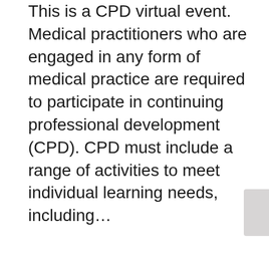This is a CPD virtual event. Medical practitioners who are engaged in any form of medical practice are required to participate in continuing professional development (CPD). CPD must include a range of activities to meet individual learning needs, including...